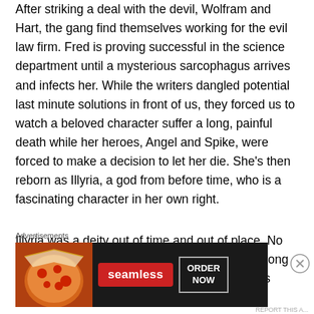After striking a deal with the devil, Wolfram and Hart, the gang find themselves working for the evil law firm. Fred is proving successful in the science department until a mysterious sarcophagus arrives and infects her. While the writers dangled potential last minute solutions in front of us, they forced us to watch a beloved character suffer a long, painful death while her heroes, Angel and Spike, were forced to make a decision to let her die. She's then reborn as Illyria, a god from before time, who is a fascinating character in her own right.
Illyria was a deity out of time and out of place. No longer a mighty ruler she's in a world that has long since forgotten her and her gargantuan powers vastly reduced and
Advertisements
[Figure (other): Seamless food delivery advertisement banner showing pizza image on the left, Seamless logo in red, and ORDER NOW button on the right against a dark background.]